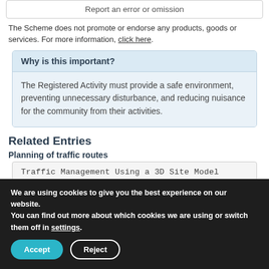Report an error or omission
The Scheme does not promote or endorse any products, goods or services. For more information, click here.
Why is this important?
The Registered Activity must provide a safe environment, preventing unnecessary disturbance, and reducing nuisance for the community from their activities.
Related Entries
Planning of traffic routes
Traffic Management Using a 3D Site Model
We are using cookies to give you the best experience on our website.
You can find out more about which cookies we are using or switch them off in settings.